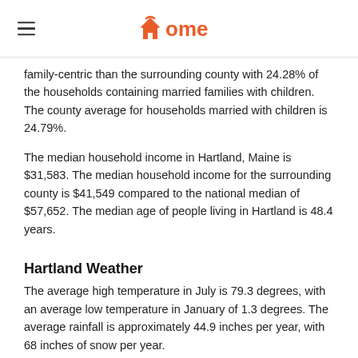xome
family-centric than the surrounding county with 24.28% of the households containing married families with children. The county average for households married with children is 24.79%.
The median household income in Hartland, Maine is $31,583. The median household income for the surrounding county is $41,549 compared to the national median of $57,652. The median age of people living in Hartland is 48.4 years.
Hartland Weather
The average high temperature in July is 79.3 degrees, with an average low temperature in January of 1.3 degrees. The average rainfall is approximately 44.9 inches per year, with 68 inches of snow per year.